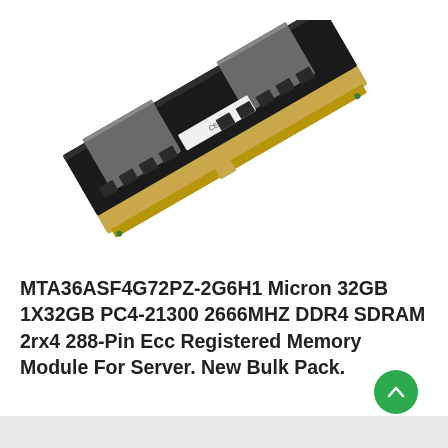[Figure (photo): A DDR4 server RAM module (Micron) shown at a diagonal angle with a black heatspreader and gold edge connector, displayed on a white background.]
MTA36ASF4G72PZ-2G6H1 Micron 32GB 1X32GB PC4-21300 2666MHZ DDR4 SDRAM 2rx4 288-Pin Ecc Registered Memory Module For Server. New Bulk Pack.